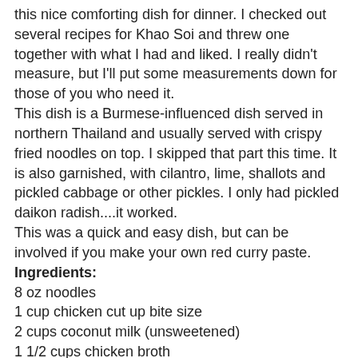this nice comforting dish for dinner. I checked out several recipes for Khao Soi and threw one together with what I had and liked. I really didn't measure, but I'll put some measurements down for those of you who need it. This dish is a Burmese-influenced dish served in northern Thailand and usually served with crispy fried noodles on top. I skipped that part this time. It is also garnished, with cilantro, lime, shallots and pickled cabbage or other pickles. I only had pickled daikon radish....it worked. This was a quick and easy dish, but can be involved if you make your own red curry paste.
Ingredients:
8 oz noodles
1 cup chicken cut up bite size
2 cups coconut milk (unsweetened)
1 1/2 cups chicken broth
1 T shallots chopped
1 T red curry paste (I used store bought premade)
2 garlic cloves finely chopped
1 T curry powder ( I used madras because I have a good one I like to use)
1/2 tsp turmeric